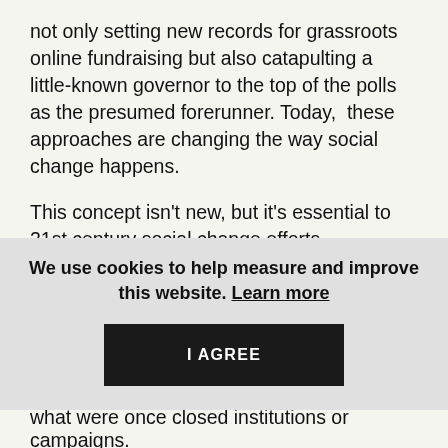not only setting new records for grassroots online fundraising but also catapulting a little-known governor to the top of the polls as the presumed forerunner. Today,  these approaches are changing the way social change happens.
This concept isn't new, but it's essential to 21st century social change efforts. Technologists like Clay Shirky, Beth Kanter, Micah Sifry, and Howard Rheingold have extolled the power and possibility of digital collaboration and participation to scale advocacy for more than a decade. Essentially,
We use cookies to help measure and improve this website. Learn more
I AGREE
what were once closed institutions or campaigns.